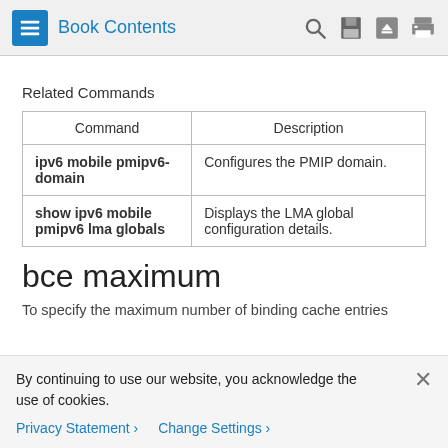Book Contents
Related Commands
| Command | Description |
| --- | --- |
| ipv6 mobile pmipv6-domain | Configures the PMIP domain. |
| show ipv6 mobile pmipv6 lma globals | Displays the LMA global configuration details. |
bce maximum
To specify the maximum number of binding cache entries
By continuing to use our website, you acknowledge the use of cookies.
Privacy Statement >   Change Settings >